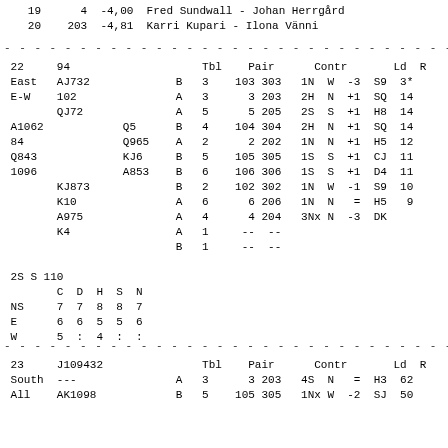| # | Pair | Score | Names |
| --- | --- | --- | --- |
| 19 | 4 | -4,00 | Fred Sundwall - Johan Herrgård |
| 20 | 203 | -4,81 | Karri Kupari - Ilona Vänni |
| # | Pair | Tbl | Pair1 | Pair2 | Contr | Ld | R |
| --- | --- | --- | --- | --- | --- | --- | --- |
| 22 | 94 |  |  | Tbl | Pair | Contr | Ld | R |
| East | AJ732 |  | B | 3 | 103 303 | 1N W -3 | S9 | 3* |
| E-W | 102 |  | A | 3 | 3 203 | 2H N +1 | SQ | 14 |
|  | QJ72 |  | A | 5 | 5 205 | 2S S +1 | H8 | 14 |
| A1062 |  | Q5 | B | 4 | 104 304 | 2H N +1 | SQ | 14 |
| 84 |  | Q965 | A | 2 | 2 202 | 1N N +1 | H5 | 12 |
| Q843 |  | KJ6 | B | 5 | 105 305 | 1S S +1 | CJ | 11 |
| 1096 |  | A853 | B | 6 | 106 306 | 1S S +1 | D4 | 11 |
|  | KJ873 |  | B | 2 | 102 302 | 1N W -1 | S9 | 10 |
|  | K10 |  | A | 6 | 6 206 | 1N N = | H5 | 9 |
|  | A975 |  | A | 4 | 4 204 | 3Nx N -3 | DK |  |
|  | K4 |  | A | 1 | -- -- |  |  |  |
|  |  |  | B | 1 | -- -- |  |  |  |
|  | C | D | H | S | N |
| --- | --- | --- | --- | --- | --- |
| 2S S 110 |  |  |  |  |  |
| NS | 7 | 7 | 8 | 8 | 7 |
| E | 6 | 6 | 5 | 5 | 6 |
| W | 5 | : | 4 | : | : |
| # | Hand | Tbl | Pair1 | Pair2 | Contr | Ld | R |
| --- | --- | --- | --- | --- | --- | --- | --- |
| 23 | J109432 |  |  | Tbl | Pair | Contr | Ld | R |
| South | --- |  | A | 3 | 3 203 | 4S N = | H3 | 62 |
| All | AK1098 |  | B | 5 | 105 305 | 1Nx W -2 | SJ | 50 |